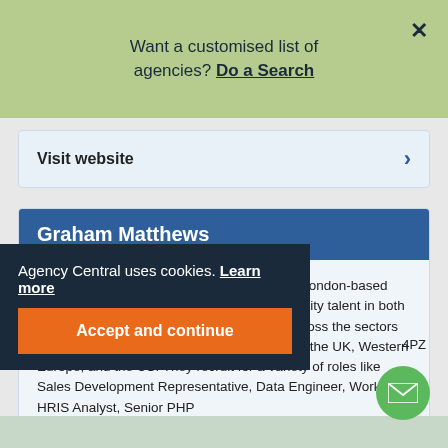Want a customised list of agencies? Do a Search
Visit website
Graham Matthews
Established in 2015, Graham Matthews is a London-based recruitment organisation that places high-quality talent in both contract, interim and permanent positions across the sectors of Technology, Healthcare IT, and Systems in the UK, Western Europe, and the US. They recruit for a variety of roles like Sales Development Representative, Data Engineer, Workday HRIS Analyst, Senior PHP
Agency Central uses cookies. Learn more
Accept and continue
4PZ